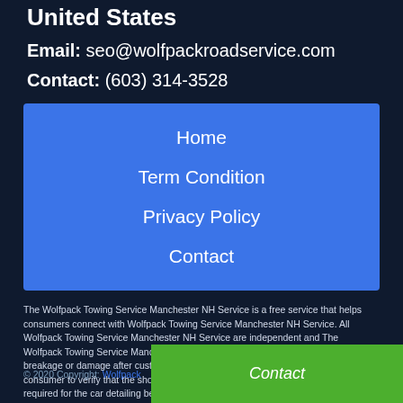United States
Email: seo@wolfpackroadservice.com
Contact: (603) 314-3528
Home
Term Condition
Privacy Policy
Contact
The Wolfpack Towing Service Manchester NH Service is a free service that helps consumers connect with Wolfpack Towing Service Manchester NH Service. All Wolfpack Towing Service Manchester NH Service are independent and The Wolfpack Towing Service Manchester NH Service does not warrant or guarantee any breakage or damage after custumer recieved their auto. It is the responsibility of the consumer to verify that the shop they hire has the necessary license and insurance required for the car detailing being performed. We only represents confirmation of a business's service area and business category (e.g., Wolfpack Towing Service Manchester NH Service)
© 2020 Copyright: Wolfpack
Contact